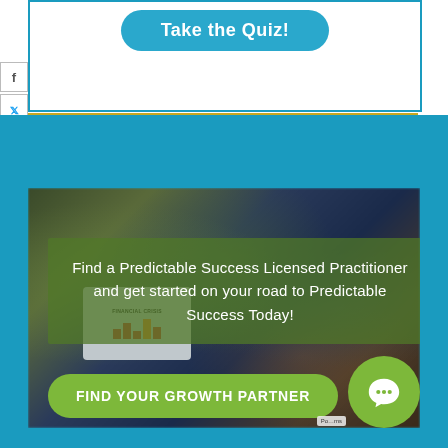[Figure (screenshot): Teal rounded 'Take the Quiz!' button inside a teal-bordered white box]
Start Growing Now
[Figure (photo): Blurred background photo of business people with a green semi-transparent overlay containing text about finding a Predictable Success Licensed Practitioner, and a 'FIND YOUR GROWTH PARTNER' green button below]
Find a Predictable Success Licensed Practitioner and get started on your road to Predictable Success Today!